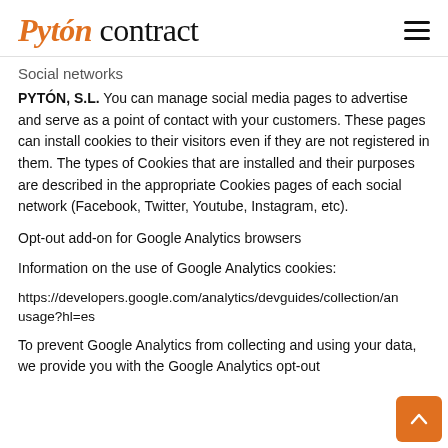Pytón contract
Social networks
PYTÓN, S.L. You can manage social media pages to advertise and serve as a point of contact with your customers. These pages can install cookies to their visitors even if they are not registered in them. The types of Cookies that are installed and their purposes are described in the appropriate Cookies pages of each social network (Facebook, Twitter, Youtube, Instagram, etc).
Opt-out add-on for Google Analytics browsers
Information on the use of Google Analytics cookies:
https://developers.google.com/analytics/devguides/collection/analyticsjs/cookie-usage?hl=es
To prevent Google Analytics from collecting and using your data, we provide you with the Google Analytics opt-out